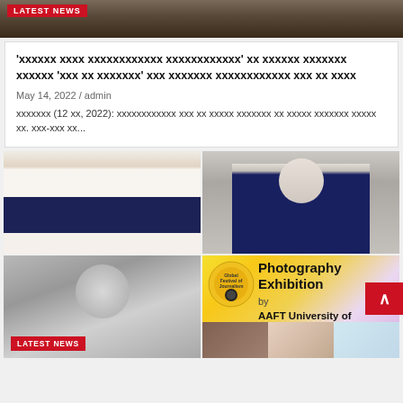[Figure (photo): Top banner image showing wires/equipment with a LATEST NEWS red badge]
'xxxxxx xxxx xxxxxxxxxxxx xxxxxxxxxxxx' xx xxxxxx xxxxxxx xxxxxx 'xxx xx xxxxxxx' xxx xxxxxxx xxxxxxxxxxxx xxx xx xxxx
May 14, 2022 / admin
xxxxxxx (12 xx, 2022): xxxxxxxxxxxx xxx xx xxxxx xxxxxxx xx xxxxx xxxxxxx xxxxx xx. xxx-xxx xx...
[Figure (photo): Man in dark navy vest holding microphone]
[Figure (photo): Man in blue suit with tie]
[Figure (photo): Smiling man in grayscale photo with LATEST NEWS badge]
[Figure (infographic): Photography Exhibition by AAFT University of Media and Arts, Raipur - Global Festival of Journalism logo]